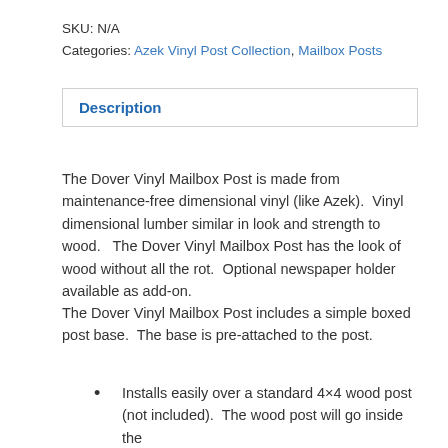SKU: N/A
Categories: Azek Vinyl Post Collection, Mailbox Posts
Description
The Dover Vinyl Mailbox Post is made from maintenance-free dimensional vinyl (like Azek). Vinyl dimensional lumber similar in look and strength to wood. The Dover Vinyl Mailbox Post has the look of wood without all the rot. Optional newspaper holder available as add-on.
The Dover Vinyl Mailbox Post includes a simple boxed post base. The base is pre-attached to the post.
Installs easily over a standard 4×4 wood post (not included). The wood post will go inside the